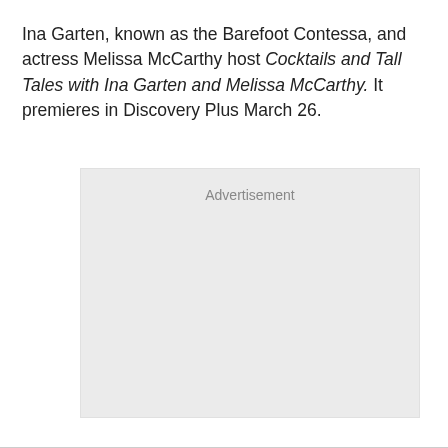Ina Garten, known as the Barefoot Contessa, and actress Melissa McCarthy host Cocktails and Tall Tales with Ina Garten and Melissa McCarthy. It premieres in Discovery Plus March 26.
[Figure (other): Advertisement placeholder box with grey background and 'Advertisement' label at top center]